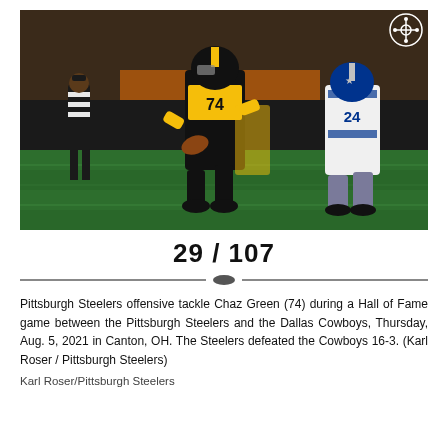[Figure (photo): Pittsburgh Steelers offensive tackle Chaz Green (74) in black and yellow uniform running with the ball during a Hall of Fame game against Dallas Cowboys player number 24 in white and blue uniform, with a referee in black and white stripes in the background. Night game on green turf field.]
29 / 107
Pittsburgh Steelers offensive tackle Chaz Green (74) during a Hall of Fame game between the Pittsburgh Steelers and the Dallas Cowboys, Thursday, Aug. 5, 2021 in Canton, OH. The Steelers defeated the Cowboys 16-3. (Karl Roser / Pittsburgh Steelers)
Karl Roser/Pittsburgh Steelers